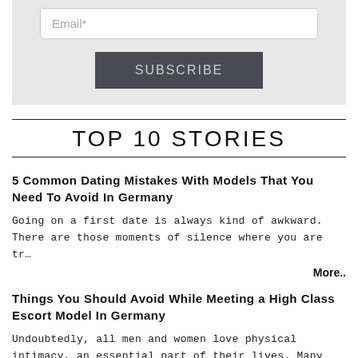[Figure (other): Email subscription form with text input labeled 'Email*' and a dark SUBSCRIBE button on a light grey background]
TOP 10 STORIES
5 Common Dating Mistakes With Models That You Need To Avoid In Germany
Going on a first date is always kind of awkward. There are those moments of silence where you are tr…
More..
Things You Should Avoid While Meeting a High Class Escort Model In Germany
Undoubtedly, all men and women love physical intimacy, an essential part of their lives. Many are ac…
More..